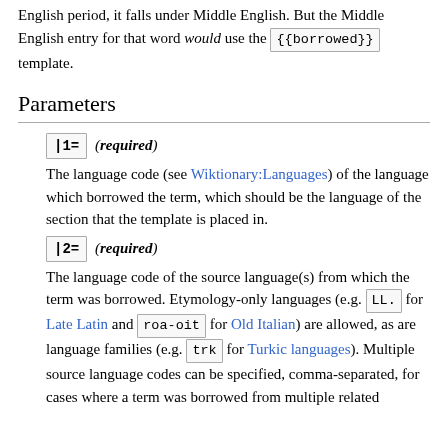English period, it falls under Middle English. But the Middle English entry for that word would use the {{borrowed}} template.
Parameters
|1= (required) — The language code (see Wiktionary:Languages) of the language which borrowed the term, which should be the language of the section that the template is placed in.
|2= (required) — The language code of the source language(s) from which the term was borrowed. Etymology-only languages (e.g. LL. for Late Latin and roa-oit for Old Italian) are allowed, as are language families (e.g. trk for Turkic languages). Multiple source language codes can be specified, comma-separated, for cases where a term was borrowed from multiple related